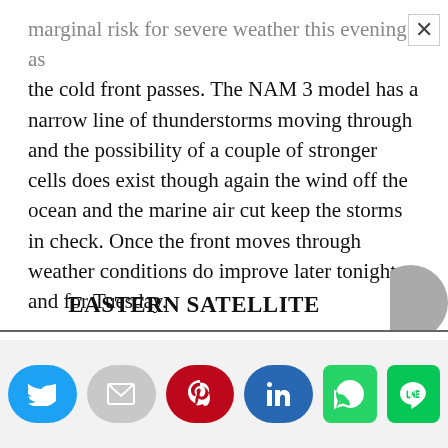marginal risk for severe weather this evening as the cold front passes. The NAM 3 model has a narrow line of thunderstorms moving through and the possibility of a couple of stronger cells does exist though again the wind off the ocean and the marine air cut keep the storms in check. Once the front moves through weather conditions do improve later tonight and for Tuesday.
EASTERN SATELLITE
This website uses cookies.
[Figure (infographic): Social media share buttons: Twitter (blue), Email (grey), Pinterest (red), LinkedIn (blue), WhatsApp (green), Line (green)]